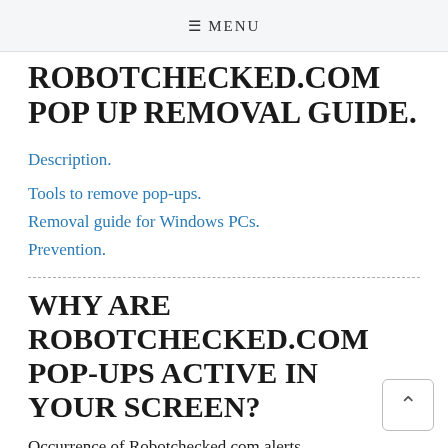≡ MENU
ROBOTCHECKED.COM POP UP REMOVAL GUIDE.
Description.
Tools to remove pop-ups.
Removal guide for Windows PCs.
Prevention.
WHY ARE ROBOTCHECKED.COM POP-UPS ACTIVE IN YOUR SCREEN?
Occurrence of Robotchecked.com alerts